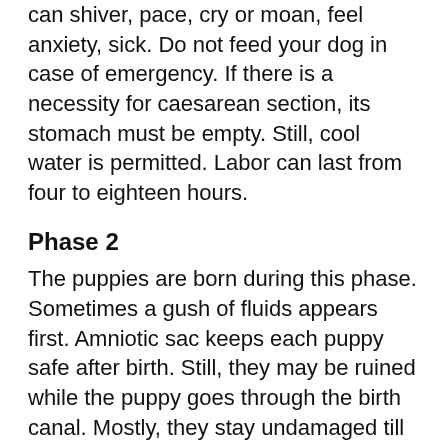can shiver, pace, cry or moan, feel anxiety, sick. Do not feed your dog in case of emergency. If there is a necessity for caesarean section, its stomach must be empty. Still, cool water is permitted. Labor can last from four to eighteen hours.
Phase 2
The puppies are born during this phase. Sometimes a gush of fluids appears first. Amniotic sac keeps each puppy safe after birth. Still, they may be ruined while the puppy goes through the birth canal. Mostly, they stay undamaged till the dam opens it. Do it on your own if it is not done yet. Your poodle bites off the umbilical cord clear breathing passages and stimulate inhaling/exhaling abilities by licking a pup. If your poodle does not do these, the suction bulb comes in handy to clear fluid from newborn's nasal passages and mouth. You